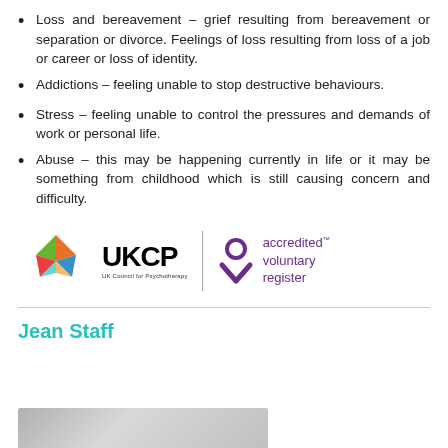Loss and bereavement – grief resulting from bereavement or separation or divorce. Feelings of loss resulting from loss of a job or career or loss of identity.
Addictions – feeling unable to stop destructive behaviours.
Stress – feeling unable to control the pressures and demands of work or personal life.
Abuse – this may be happening currently in life or it may be something from childhood which is still causing concern and difficulty.
[Figure (logo): UKCP (UK Council for Psychotherapy) logo with starburst graphic, and accredited voluntary register badge with purple V-shape and circle icon]
Jean Staff
[Figure (photo): Bottom portion of a photo, showing a grey/silver background, partially visible]